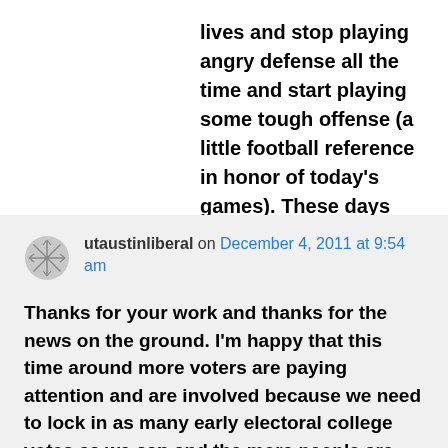lives and stop playing angry defense all the time and start playing some tough offense (a little football reference in honor of today's games). These days there is too much at stake to do otherwise.
utaustinliberal on December 4, 2011 at 9:54 am
Thanks for your work and thanks for the news on the ground. I'm happy that this time around more voters are paying attention and are involved because we need to lock in as many early electoral college votes as we can and the more people are closely paying attention, the